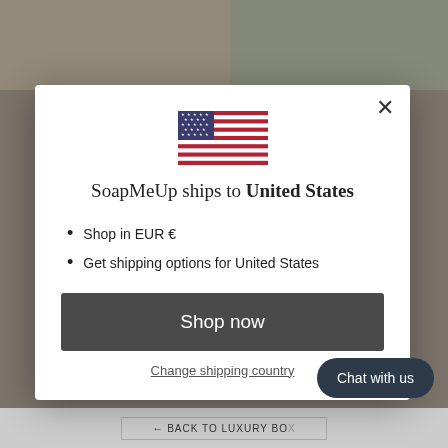[Figure (screenshot): Background showing soap product images — cream/tan colored soap on left, white soap with pink roses on right]
[Figure (illustration): US flag SVG icon centered in modal]
SoapMeUp ships to United States
Shop in EUR €
Get shipping options for United States
Shop now
Change shipping country
Chat with us
← BACK TO LUXURY BO...